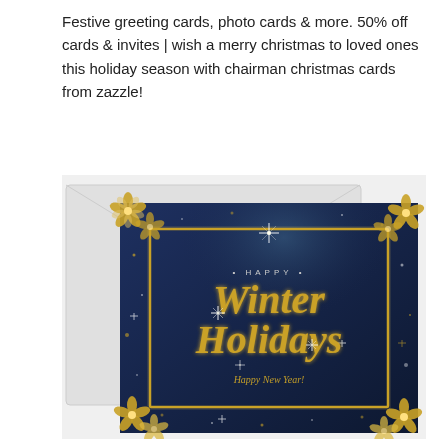Festive greeting cards, photo cards & more. 50% off cards & invites | wish a merry christmas to loved ones this holiday season with chairman christmas cards from zazzle!
[Figure (illustration): A holiday greeting card product image showing a dark navy blue card with a gold decorative frame and gold snowflake/flower ornaments at the corners. The card reads '• HAPPY •' at the top, then 'Winter Holidays' in large gold italic script, and 'Happy New Year!' in smaller gold italic script below. The card is shown overlapping a white envelope on a marble/grey background.]